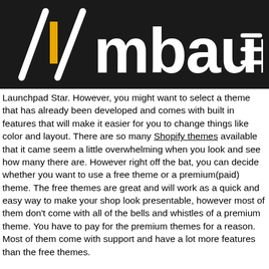[Figure (logo): Ambaum logo: white stylized text on dark/black background with a yellow accent mark]
Launchpad Star. However, you might want to select a theme that has already been developed and comes with built in features that will make it easier for you to change things like color and layout. There are so many Shopify themes available that it came seem a little overwhelming when you look and see how many there are. However right off the bat, you can decide whether you want to use a free theme or a premium(paid) theme. The free themes are great and will work as a quick and easy way to make your shop look presentable, however most of them don't come with all of the bells and whistles of a premium theme. You have to pay for the premium themes for a reason. Most of them come with support and have a lot more features than the free themes.